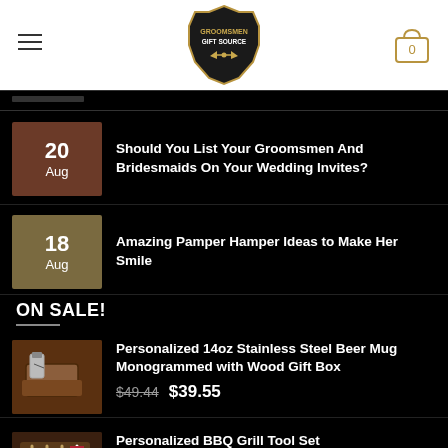Groomsmen Gift Source — Navigation header with hamburger menu, logo, and cart icon showing 0
20 Aug — Should You List Your Groomsmen And Bridesmaids On Your Wedding Invites?
18 Aug — Amazing Pamper Hamper Ideas to Make Her Smile
ON SALE!
Personalized 14oz Stainless Steel Beer Mug Monogrammed with Wood Gift Box — $49.44 $39.55
Personalized BBQ Grill Tool Set — $73.59 $58.87